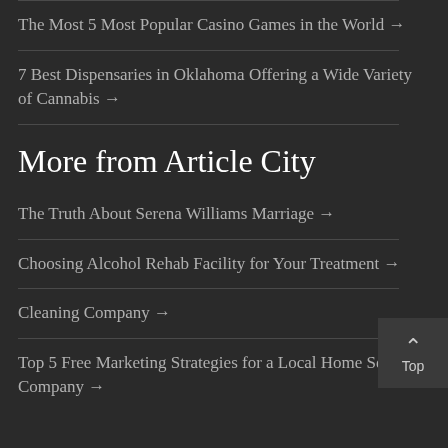The Most 5 Most Popular Casino Games in the World →
7 Best Dispensaries in Oklahoma Offering a Wide Variety of Cannabis →
More from Article City
The Truth About Serena Williams Marriage →
Choosing Alcohol Rehab Facility for Your Treatment →
Cleaning Company →
Top 5 Free Marketing Strategies for a Local Home Service Company →